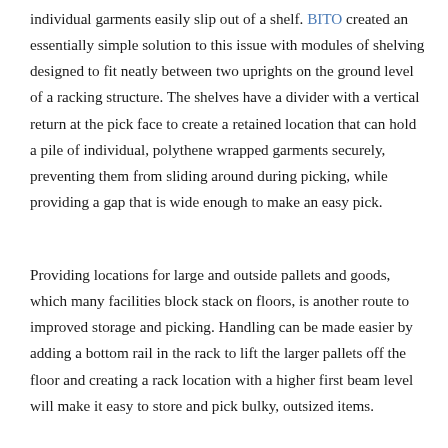individual garments easily slip out of a shelf. BITO created an essentially simple solution to this issue with modules of shelving designed to fit neatly between two uprights on the ground level of a racking structure. The shelves have a divider with a vertical return at the pick face to create a retained location that can hold a pile of individual, polythene wrapped garments securely, preventing them from sliding around during picking, while providing a gap that is wide enough to make an easy pick.
Providing locations for large and outside pallets and goods, which many facilities block stack on floors, is another route to improved storage and picking. Handling can be made easier by adding a bottom rail in the rack to lift the larger pallets off the floor and creating a rack location with a higher first beam level will make it easy to store and pick bulky, outsized items.